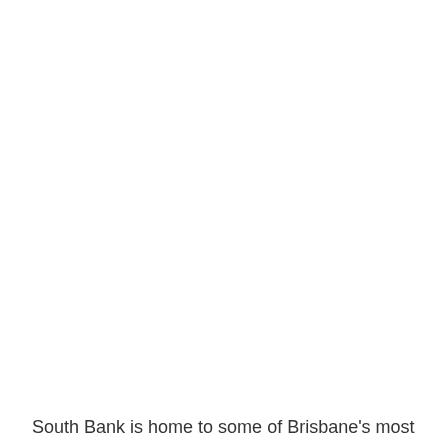South Bank is home to some of Brisbane's most